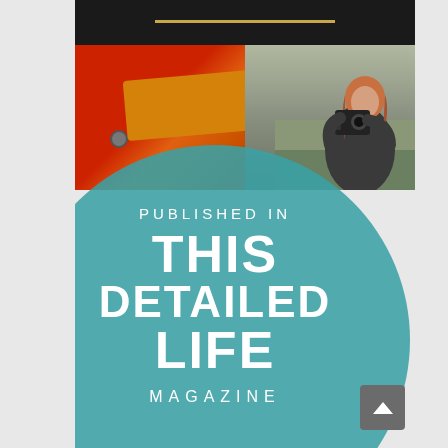[Figure (photo): Composite image: top dark arc with gold line, middle strip showing red playground equipment and a woman photographer with camera, overlaid by large teal circle containing 'PUBLISHED IN / THIS DETAILED LIFE / MAGAZINE' text]
PUBLISHED IN THIS DETAILED LIFE MAGAZINE